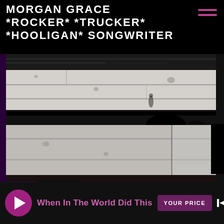MORGAN GRACE *ROCKER* *TRUCKER* *HOOLIGAN* SONGWRITER
[Figure (photo): Black and white close-up photo of a weathered brick or stone wall with dark mortar joints, blurry and high-contrast, with dark edges.]
When In The World Did This
YOUR PRICE